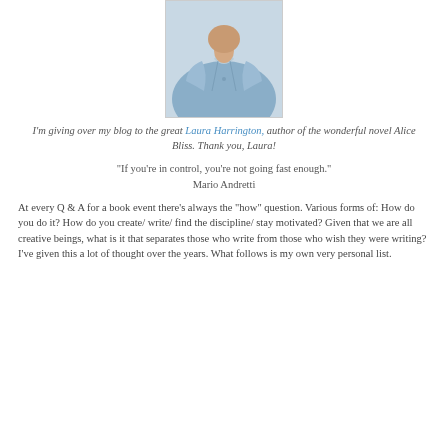[Figure (photo): Cropped photo of a person wearing a light blue denim jacket, upper torso and lower face visible.]
I'm giving over my blog to the great Laura Harrington, author of the wonderful novel Alice Bliss. Thank you, Laura!
“If you’re in control, you’re not going fast enough.”
Mario Andretti
At every Q & A for a book event there’s always the “how” question. Various forms of: How do you do it? How do you create/ write/ find the discipline/ stay motivated? Given that we are all creative beings, what is it that separates those who write from those who wish they were writing? I’ve given this a lot of thought over the years. What follows is my own very personal list.